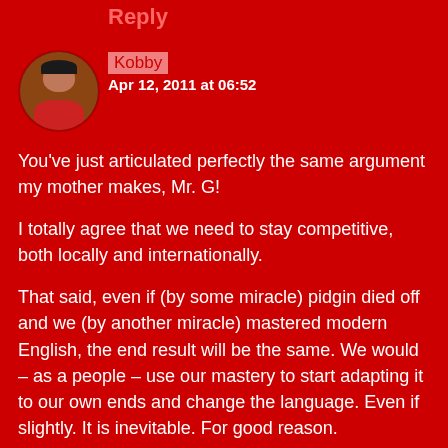Reply
Kobby
Apr 12, 2011 at 06:52
You've just articulated perfectly the same argument my mother makes, Mr. G!
I totally agree that we need to stay competitive, both locally and internationally.
That said, even if (by some miracle) pidgin died off and we (by another miracle) mastered modern English, the end result will be the same. We would – as a people – use our mastery to start adapting it to our own ends and change the language. Even if slightly. It is inevitable. For good reason.